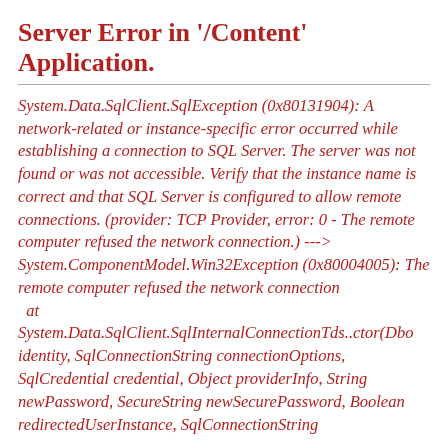Server Error in '/Content' Application.
System.Data.SqlClient.SqlException (0x80131904): A network-related or instance-specific error occurred while establishing a connection to SQL Server. The server was not found or was not accessible. Verify that the instance name is correct and that SQL Server is configured to allow remote connections. (provider: TCP Provider, error: 0 - The remote computer refused the network connection.) ---> System.ComponentModel.Win32Exception (0x80004005): The remote computer refused the network connection
   at System.Data.SqlClient.SqlInternalConnectionTds..ctor(Dbo identity, SqlConnectionString connectionOptions, SqlCredential credential, Object providerInfo, String newPassword, SecureString newSecurePassword, Boolean redirectedUserInstance, SqlConnectionString